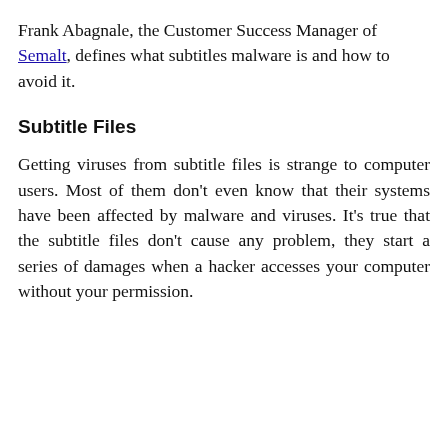Frank Abagnale, the Customer Success Manager of Semalt, defines what subtitles malware is and how to avoid it.
Subtitle Files
Getting viruses from subtitle files is strange to computer users. Most of them don't even know that their systems have been affected by malware and viruses. It's true that the subtitle files don't cause any problem, they start a series of damages when a hacker accesses your computer without your permission.